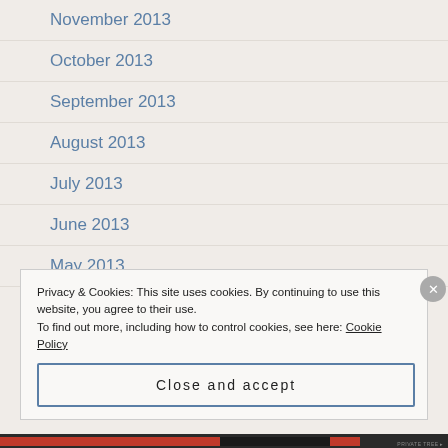November 2013
October 2013
September 2013
August 2013
July 2013
June 2013
May 2013
Privacy & Cookies: This site uses cookies. By continuing to use this website, you agree to their use.
To find out more, including how to control cookies, see here: Cookie Policy
Close and accept